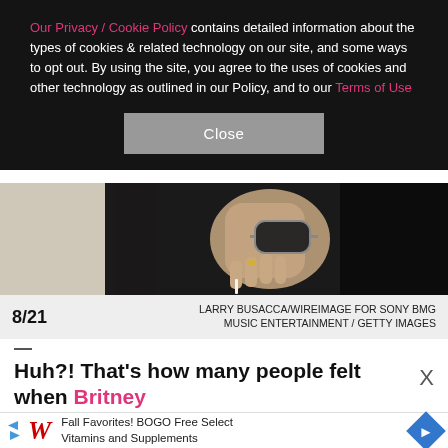Our Privacy / Cookie Policy contains detailed information about the types of cookies & related technology on our site, and some ways to opt out. By using the site, you agree to the uses of cookies and other technology as outlined in our Policy, and to our Terms of Use
Close
[Figure (photo): Dark photo showing a person's hand holding sunglasses, wearing rings, against a dark background with a white/cream fabric visible on left side.]
8/21   LARRY BUSACCA/WIREIMAGE FOR SONY BMG MUSIC ENTERTAINMENT / GETTY IMAGES
Huh?! That's how many people felt when Britney
Fall Favorites! BOGO Free Select Vitamins and Supplements